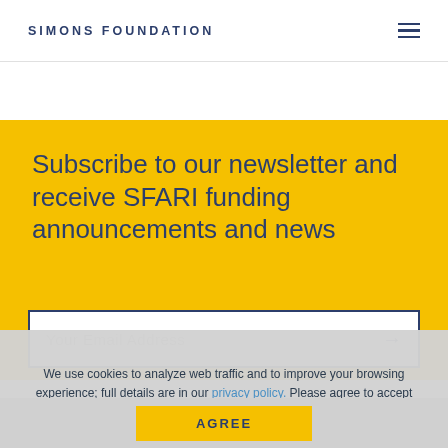SIMONS FOUNDATION
Subscribe to our newsletter and receive SFARI funding announcements and news
Your Email Address
We use cookies to analyze web traffic and to improve your browsing experience; full details are in our privacy policy. Please agree to accept cookies from our site.
AGREE